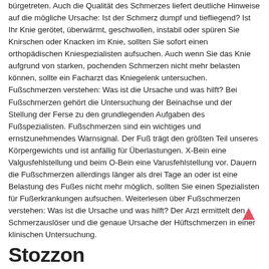bürgetreten. Auch die Qualität des Schmerzes liefert deutliche Hinweise auf die mögliche Ursache: Ist der Schmerz dumpf und tiefliegend? Ist Ihr Knie gerötet, überwärmt, geschwollen, instabil oder spüren Sie Knirschen oder Knacken im Knie, sollten Sie sofort einen orthopädischen Kniespezialisten aufsuchen. Auch wenn Sie das Knie aufgrund von starken, pochenden Schmerzen nicht mehr belasten können, sollte ein Facharzt das Kniegelenk untersuchen. Fußschmerzen verstehen: Was ist die Ursache und was hilft? Bei Fußschmerzen gehört die Untersuchung der Beinachse und der Stellung der Ferse zu den grundlegenden Aufgaben des Fußspezialisten. Fußschmerzen sind ein wichtiges und ernstzunehmendes Warnsignal. Der Fuß trägt den größten Teil unseres Körpergewichts und ist anfällig für Überlastungen. X-Bein eine Valgusfehlstellung und beim O-Bein eine Varusfehlstellung vor. Dauern die Fußschmerzen allerdings länger als drei Tage an oder ist eine Belastung des Fußes nicht mehr möglich, sollten Sie einen Spezialisten für Fußerkrankungen aufsuchen. Weiterlesen über Fußschmerzen verstehen: Was ist die Ursache und was hilft? Der Arzt ermittelt den Schmerzauslöser und die genaue Ursache der Hüftschmerzen in einer klinischen Untersuchung.
Stozzon